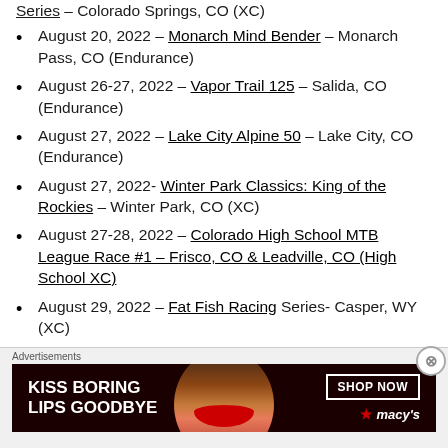Series – Colorado Springs, CO (XC)
August 20, 2022 – Monarch Mind Bender – Monarch Pass, CO (Endurance)
August 26-27, 2022 – Vapor Trail 125 – Salida, CO (Endurance)
August 27, 2022 – Lake City Alpine 50 – Lake City, CO (Endurance)
August 27, 2022- Winter Park Classics: King of the Rockies – Winter Park, CO (XC)
August 27-28, 2022 – Colorado High School MTB League Race #1 – Frisco, CO & Leadville, CO (High School XC)
August 29, 2022 – Fat Fish Racing Series- Casper, WY (XC)
[Figure (other): Advertisement banner: Kiss Boring Lips Goodbye – Macy's Shop Now]